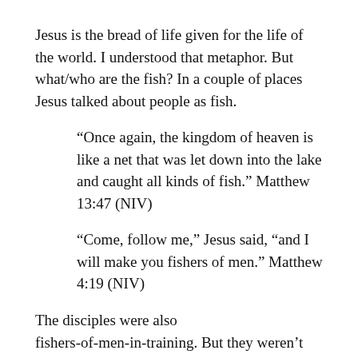Jesus is the bread of life given for the life of the world. I understood that metaphor. But what/who are the fish? In a couple of places Jesus talked about people as fish.
“Once again, the kingdom of heaven is like a net that was let down into the lake and caught all kinds of fish.” Matthew 13:47 (NIV)
“Come, follow me,” Jesus said, “and I will make you fishers of men.” Matthew 4:19 (NIV)
The disciples were also fishers-of-men-in-training. But they weren’t just learning to fish